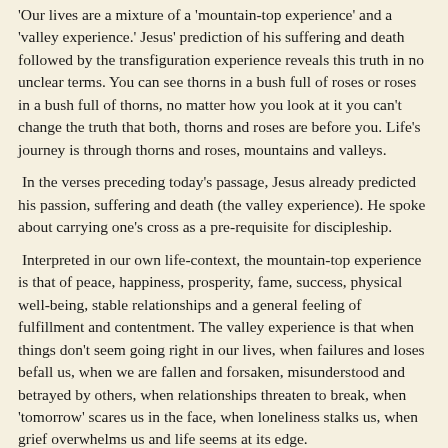'Our lives are a mixture of a 'mountain-top experience' and a 'valley experience.' Jesus' prediction of his suffering and death followed by the transfiguration experience reveals this truth in no unclear terms. You can see thorns in a bush full of roses or roses in a bush full of thorns, no matter how you look at it you can't change the truth that both, thorns and roses are before you. Life's journey is through thorns and roses, mountains and valleys.
In the verses preceding today's passage, Jesus already predicted his passion, suffering and death (the valley experience). He spoke about carrying one's cross as a pre-requisite for discipleship.
Interpreted in our own life-context, the mountain-top experience is that of peace, happiness, prosperity, fame, success, physical well-being, stable relationships and a general feeling of fulfillment and contentment. The valley experience is that when things don't seem going right in our lives, when failures and loses befall us, when we are fallen and forsaken, misunderstood and betrayed by others, when relationships threaten to break, when 'tomorrow' scares us in the face, when loneliness stalks us, when grief overwhelms us and life seems at its edge.
When you know that suffering is going to come upon you, it is but natural that your face will look gloomy and pale and people can notice it. But here at the Transfiguration Jesus is looking radiant in glory (the mountain-top experience). This scene